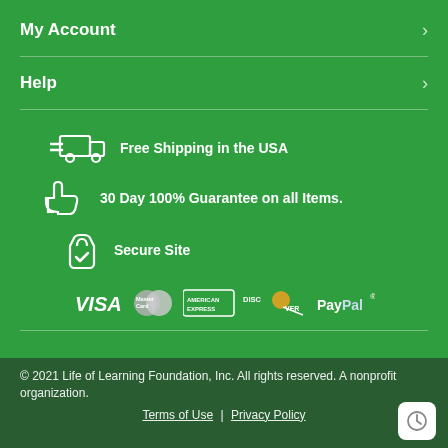My Account
Help
Free Shipping in the USA
30 Day 100% Guarantee on all Items.
Secure Site
[Figure (logo): Payment logos: VISA, MasterCard, American Express, Discover, PayPal]
© 2021 Life of Learning Foundation, Inc. All rights reserved. A nonprofit organization.
Terms of Use | Privacy Policy